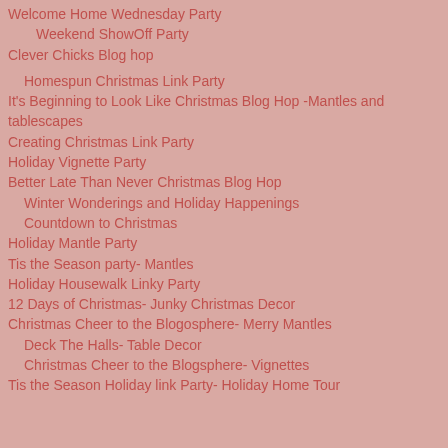Welcome Home Wednesday Party
Weekend ShowOff Party
Clever Chicks Blog hop
Homespun Christmas Link Party
It's Beginning to Look Like Christmas Blog Hop -Mantles and tablescapes
Creating Christmas Link Party
Holiday Vignette Party
Better Late Than Never Christmas Blog Hop
Winter Wonderings and Holiday Happenings
Countdown to Christmas
Holiday Mantle Party
Tis the Season party- Mantles
Holiday Housewalk Linky Party
12 Days of Christmas- Junky Christmas Decor
Christmas Cheer to the Blogosphere- Merry Mantles
Deck The Halls- Table Decor
Christmas Cheer to the Blogsphere- Vignettes
Tis the Season Holiday link Party- Holiday Home Tour